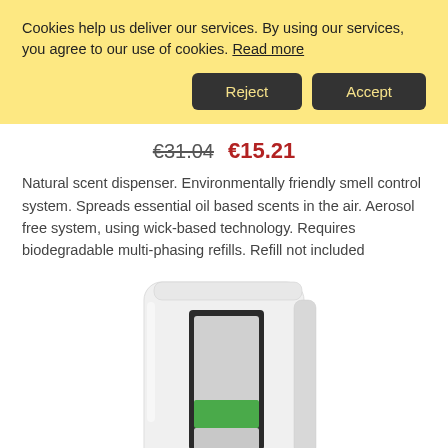Cookies help us deliver our services. By using our services, you agree to our use of cookies. Read more
Reject
Accept
€31.04  €15.21
Natural scent dispenser. Environmentally friendly smell control system. Spreads essential oil based scents in the air. Aerosol free system, using wick-based technology. Requires biodegradable multi-phasing refills. Refill not included
[Figure (photo): White wall-mounted natural scent dispenser unit with a rectangular slot showing a light grey cartridge with a green band, photographed against a white background.]